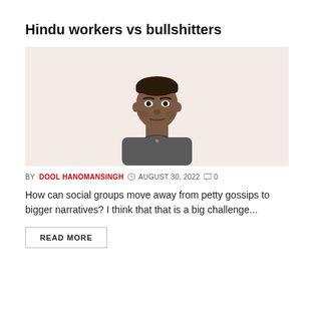Hindu workers vs bullshitters
[Figure (photo): Portrait photo of Dool Hanomansingh, a middle-aged South Asian man in a grey shirt, on a light pink/beige background.]
BY DOOL HANOMANSINGH  AUGUST 30, 2022  0
How can social groups move away from petty gossips to bigger narratives? I think that that is a big challenge...
READ MORE